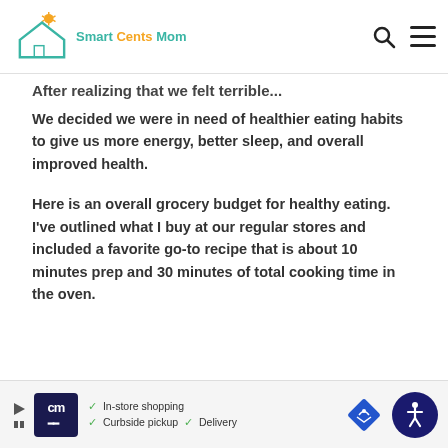Smart Cents Mom
After realizing that we felt terrible...
We decided we were in need of healthier eating habits to give us more energy, better sleep, and overall improved health.
Here is an overall grocery budget for healthy eating. I've outlined what I buy at our regular stores and included a favorite go-to recipe that is about 10 minutes prep and 30 minutes of total cooking time in the oven.